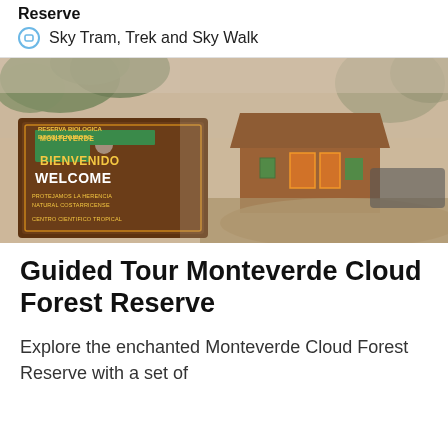Reserve
Sky Tram, Trek and Sky Walk
[Figure (photo): Entrance to Monteverde Cloud Forest Reserve on a misty day. A large brown wooden sign reads 'Reserva Biologica Bosque Nuboso Monteverde / Bienvenido / Welcome / Protejamos la herencia natural costarricense / Centro Cientifico Tropical' with a scenic logo. Behind the sign is a wooden building and foggy forest.]
Guided Tour Monteverde Cloud Forest Reserve
Explore the enchanted Monteverde Cloud Forest Reserve with a set of